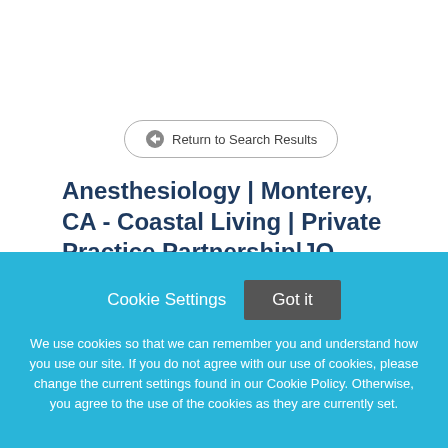Return to Search Results
Anesthesiology | Monterey, CA - Coastal Living | Private Practice Partnership|JO-2204-7005
Cookie Settings
Got it
We use cookies so that we can remember you and understand how you use our site. If you do not agree with our use of cookies, please change the current settings found in our Cookie Policy. Otherwise, you agree to the use of the cookies as they are currently set.